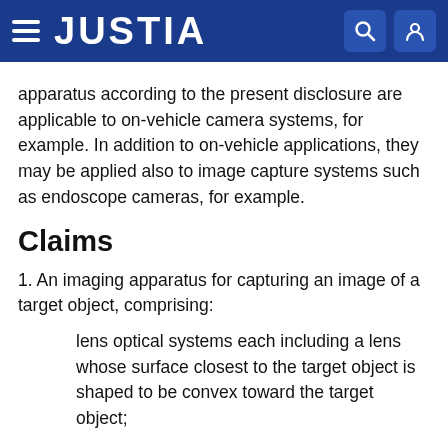JUSTIA
apparatus according to the present disclosure are applicable to on-vehicle camera systems, for example. In addition to on-vehicle applications, they may be applied also to image capture systems such as endoscope cameras, for example.
Claims
1. An imaging apparatus for capturing an image of a target object, comprising:
lens optical systems each including a lens whose surface closest to the target object is shaped to be convex toward the target object;
light detection cells which respectively face the lens optical systems;
a lens …